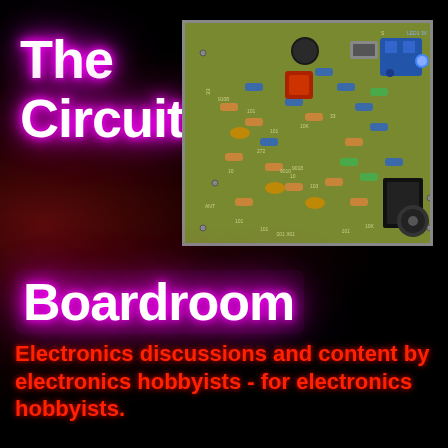The Circuit
[Figure (photo): Close-up photograph of a green PCB circuit board with various electronic components including resistors, capacitors, inductors, a blue terminal block, and other components soldered onto it.]
Boardroom
Electronics discussions and content by electronics hobbyists - for electronics hobbyists.